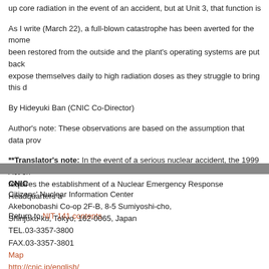up core radiation in the event of an accident, but at Unit 3, that function is no lo
As I write (March 22), a full-blown catastrophe has been averted for the mome been restored from the outside and the plant's operating systems are put back expose themselves daily to high radiation doses as they struggle to bring this d
By Hideyuki Ban (CNIC Co-Director)
Author's note: These observations are based on the assumption that data prov
**Translator's note: In the event of a serious nuclear accident, the 1999 Act on requires the establishment of a Nuclear Emergency Response Headquarters a
Return to NIT 141 contents
CNIC
Citizens' Nuclear Information Center
Akebonobashi Co-op 2F-B, 8-5 Sumiyoshi-cho,
Shinjuku-ku, Tokyo, 162-0065, Japan
TEL.03-3357-3800
FAX.03-3357-3801
Map
http://cnic.jp/english/
Email